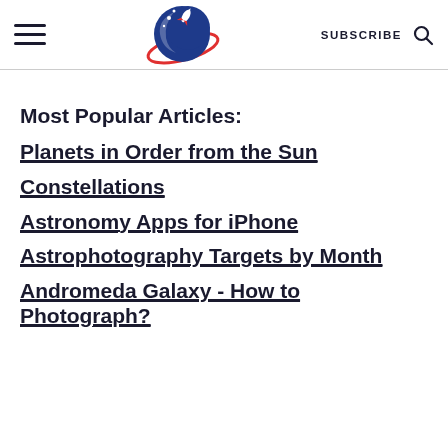SUBSCRIBE
[Figure (logo): Astronomy website logo: blue crescent moon with planet ring and rocket, red orbit ring]
Most Popular Articles:
Planets in Order from the Sun
Constellations
Astronomy Apps for iPhone
Astrophotography Targets by Month
Andromeda Galaxy - How to Photograph?